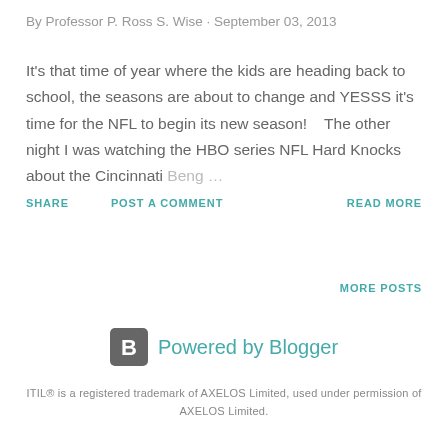By Professor P. Ross S. Wise · September 03, 2013
It's that time of year where the kids are heading back to school, the seasons are about to change and YESSS it's time for the NFL to begin its new season!    The other night I was watching the HBO series NFL Hard Knocks about the Cincinnati Beng …
SHARE   POST A COMMENT   READ MORE
MORE POSTS
[Figure (logo): Powered by Blogger logo and text]
ITIL® is a registered trademark of AXELOS Limited, used under permission of AXELOS Limited.